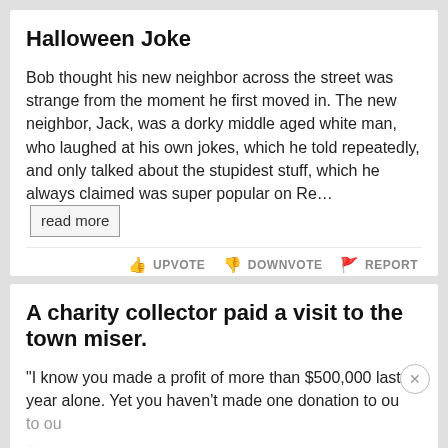Halloween Joke
Bob thought his new neighbor across the street was strange from the moment he first moved in. The new neighbor, Jack, was a dorky middle aged white man, who laughed at his own jokes, which he told repeatedly, and only talked about the stupidest stuff, which he always claimed was super popular on Re… read more
UPVOTE   DOWNVOTE   REPORT
A charity collector paid a visit to the town miser.
"I know you made a profit of more than $500,000 last year alone. Yet you haven't made one donation to ou
The [faded] "Wel [faded] er, who [faded]
[Figure (screenshot): Advertisement overlay: Firestone Auto logo, Ashburn OPEN 7:30AM-6PM, 43781 Parkhurst Plaza, Ashburn, navigation arrow icon, play and close icons at bottom]